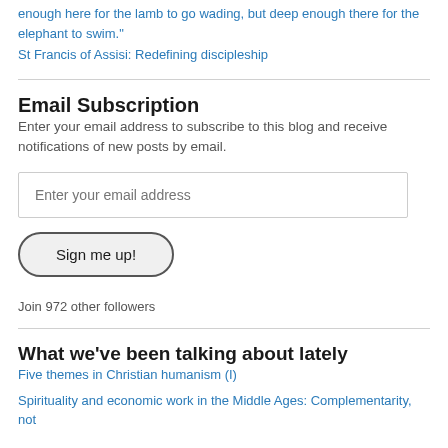enough here for the lamb to go wading, but deep enough there for the elephant to swim."
St Francis of Assisi: Redefining discipleship
Email Subscription
Enter your email address to subscribe to this blog and receive notifications of new posts by email.
Enter your email address
Sign me up!
Join 972 other followers
What we've been talking about lately
Five themes in Christian humanism (I)
Spirituality and economic work in the Middle Ages: Complementarity, not